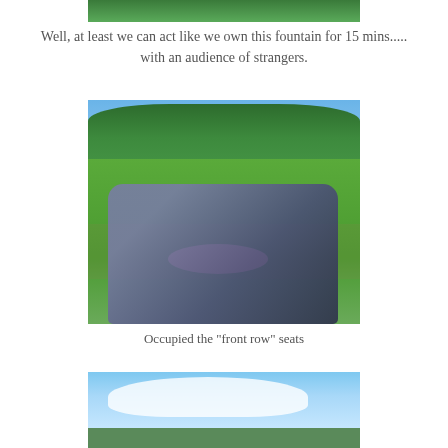[Figure (photo): Partial top of a photo showing green foliage/fountain area, cropped at top of page]
Well, at least we can act like we own this fountain for 15 mins..... with an audience of strangers.
[Figure (photo): Two people lying on grass in a park with tall manicured hedges in background, sunny day, crowd of visitors visible in background]
Occupied the "front row" seats
[Figure (photo): Blue sky with white clouds and a park scene below, partially cropped at bottom of page]